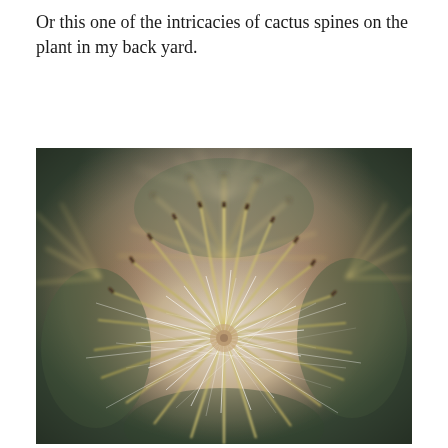Or this one of the intricacies of cactus spines on the plant in my back yard.
[Figure (photo): Close-up macro photograph of cactus spines radiating outward from the center of a cactus plant. The image shows dense white, tan, and golden spines with dark reddish-brown tips, giving a starburst or dandelion-like appearance. Background is blurred showing greenish cactus body.]